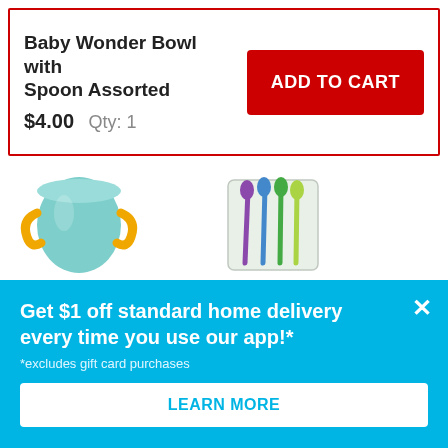Baby Wonder Bowl with Spoon Assorted
$4.00  Qty: 1
ADD TO CART
[Figure (photo): Baby Wonder 2 Handle Small Cup - 200ml, a teal/aqua cup with yellow handles]
$3.00
Baby Wonder 2 Handle Small Cup - 200ml
[Figure (photo): Baby Wonder Weaning Spoon - 5 Pack Assorted, colorful baby spoons in a clear package]
$4.00
Baby Wonder Weaning Spoon - 5 Pack Assorted
$4.0
Baby Sippe Asso
Get $1 off standard home delivery every time you use our app!*
*excludes gift card purchases
LEARN MORE